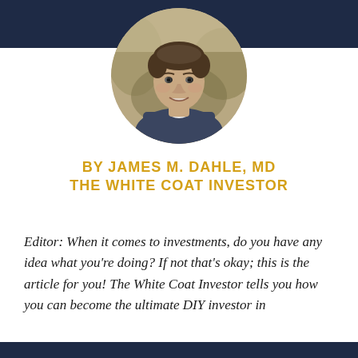[Figure (photo): Circular headshot photo of a man in dark scrubs/medical attire, smiling, with an outdoor blurred background. Photo is cropped in a circle on a dark navy header bar.]
BY JAMES M. DAHLE, MD
THE WHITE COAT INVESTOR
Editor: When it comes to investments, do you have any idea what you're doing? If not that's okay; this is the article for you! The White Coat Investor tells you how you can become the ultimate DIY investor in